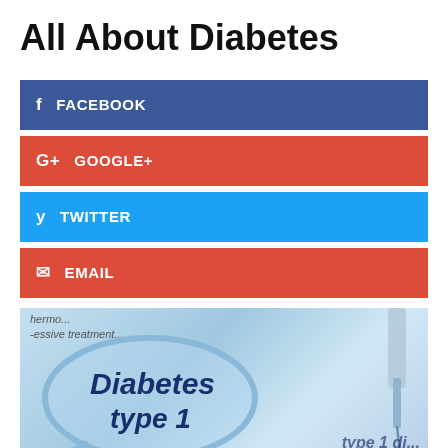All About Diabetes
FACEBOOK
GOOGLE+
TWITTER
EMAIL
[Figure (photo): Photo of a magnifying glass over text reading 'Diabetes type 1' with a syringe/needle visible in the background, blue-toned medical imagery, with partial text 'type 1 di...' visible at bottom right]